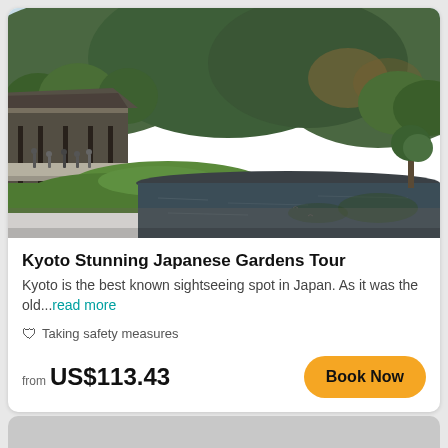[Figure (photo): Japanese garden with a reflective pond, green hills and trees in the background, a traditional building on the left, and visitors walking along the path.]
Kyoto Stunning Japanese Gardens Tour
Kyoto is the best known sightseeing spot in Japan. As it was the old...read more
🛡 Taking safety measures
from US$113.43
Book Now